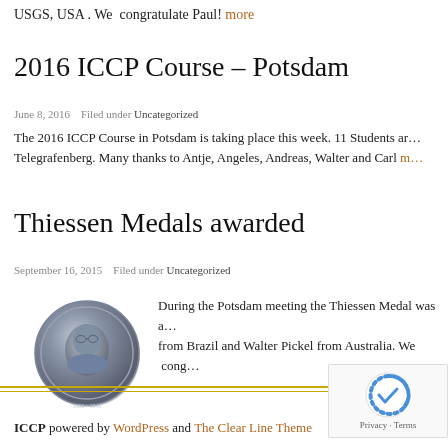USGS, USA . We  congratulate Paul! more
2016 ICCP Course – Potsdam
June 8, 2016   Filled under Uncategorized
The 2016 ICCP Course in Potsdam is taking place this week. 11 Students ar... Telegrafenberg. Many thanks to Antje, Angeles, Andreas, Walter and Carl m...
Thiessen Medals awarded
September 16, 2015   Filled under Uncategorized
[Figure (photo): A silver/bronze relief medal showing a portrait bust of a man with glasses, with text around the rim including years 1892-1941]
During the Potsdam meeting the Thiessen Medal was a... from Brazil and Walter Pickel from Australia. We  cong...
ICCP powered by WordPress and The Clear Line Theme